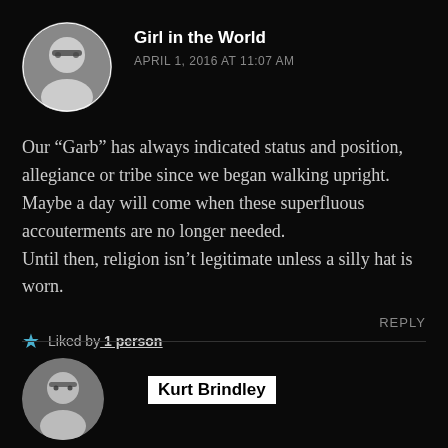Girl in the World
APRIL 1, 2016 AT 11:07 AM
Our “Garb” has always indicated status and position, allegiance or tribe since we began walking upright. Maybe a day will come when these superfluous accouterments are no longer needed. Until then, religion isn’t legitimate unless a silly hat is worn.
Liked by 1 person
REPLY
Kurt Brindley